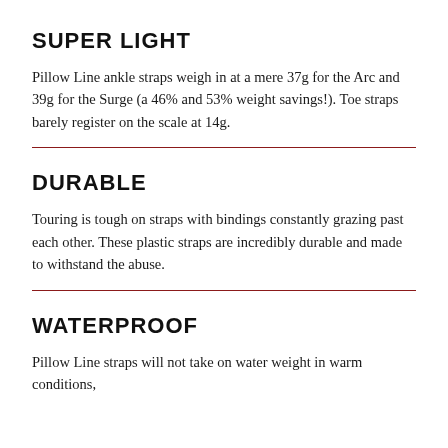SUPER LIGHT
Pillow Line ankle straps weigh in at a mere 37g for the Arc and 39g for the Surge (a 46% and 53% weight savings!). Toe straps barely register on the scale at 14g.
DURABLE
Touring is tough on straps with bindings constantly grazing past each other. These plastic straps are incredibly durable and made to withstand the abuse.
WATERPROOF
Pillow Line straps will not take on water weight in warm conditions,